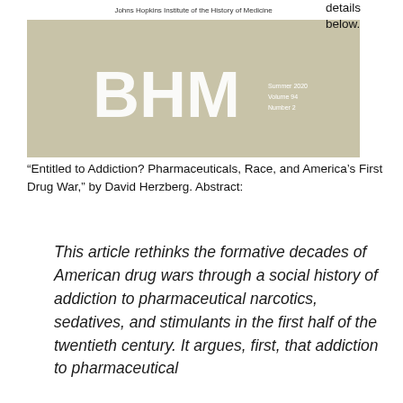[Figure (other): Cover of Bulletin of the History of Medicine journal, Summer 2020, Volume 94, Number 2, published by Johns Hopkins Institute of the History of Medicine. Tan/beige background with large white BHM letters.]
details below.
“Entitled to Addiction? Pharmaceuticals, Race, and America’s First Drug War,” by David Herzberg. Abstract:
This article rethinks the formative decades of American drug wars through a social history of addiction to pharmaceutical narcotics, sedatives, and stimulants in the first half of the twentieth century. It argues, first, that addiction to pharmaceutical